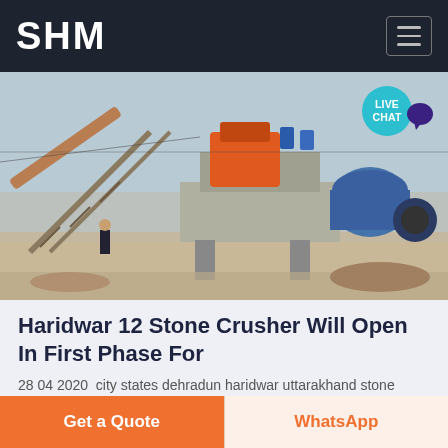SHM
[Figure (photo): Industrial stone crusher facility with conveyor belts, heavy machinery in orange and blue colors, concrete structures, and a worker standing in the foreground on a dusty site]
Haridwar 12 Stone Crusher Will Open In First Phase For
28 04 2020  city states dehradun haridwar uttarakhand stone crusher uttarakhand news kumbh work haridwar kumbh 2021 kumbh 2021